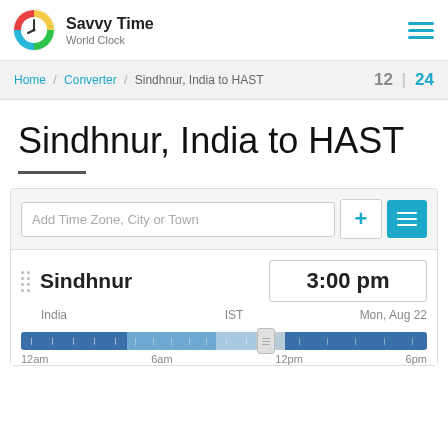Savvy Time World Clock
Home / Converter / Sindhnur, India to HAST   12 | 24
Sindhnur, India to HAST
Add Time Zone, City or Town
Sindhnur
3:00 pm
India   IST   Mon, Aug 22
[Figure (other): Time zone slider/timeline bar showing dark blue and light blue segments with a draggable handle positioned around 62% of the bar, with tick marks. Labels: 12am, 6am, 12pm, 6pm]